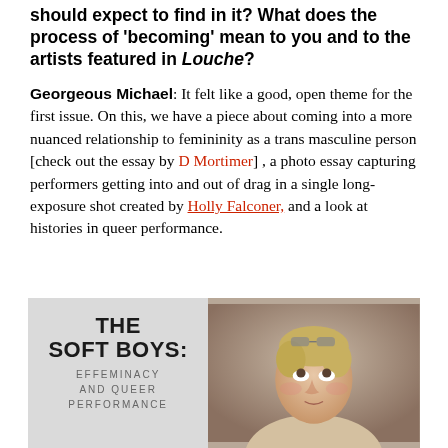should expect to find in it? What does the process of 'becoming' mean to you and to the artists featured in Louche?
Georgeous Michael: It felt like a good, open theme for the first issue. On this, we have a piece about coming into a more nuanced relationship to femininity as a trans masculine person [check out the essay by D Mortimer] , a photo essay capturing performers getting into and out of drag in a single long-exposure shot created by Holly Falconer, and a look at histories in queer performance.
[Figure (photo): Left side: light grey panel with book/magazine title text reading 'THE SOFT BOYS: EFFEMINACY AND QUEER PERFORMANCE'. Right side: photo of a person with short blonde hair, looking upward, with sunglasses pushed up on their head.]